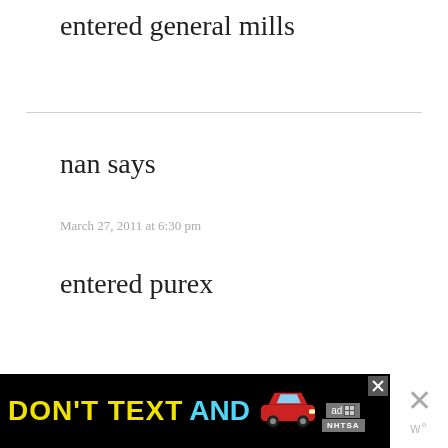entered general mills
nan says
March 27, 2011 at 6:30 pm
entered purex
[Figure (screenshot): Advertisement banner: black background with yellow 'DON'T', white 'TEXT', cyan 'AND', red cartoon car emoji, ad badge and NHTSA logo on right side. White panel on far right with X close button and watermark logo.]